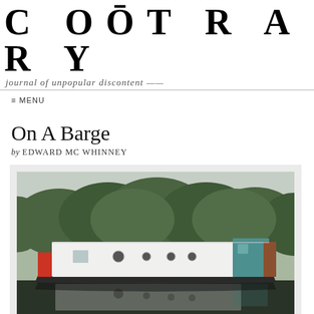CONTRARY — journal of unpopular discontent
≡ MENU
On A Barge
by EDWARD MC WHINNEY
[Figure (photo): A wide barge moored on a calm canal or river, with a white cabin structure and teal/green accent, reflected in dark still water, surrounded by dense green trees in the background.]